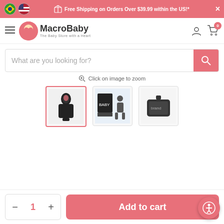Free Shipping on Orders Over $39.99 within the US!*
[Figure (logo): MacroBaby - The Baby Store with a Heart logo]
What are you looking for?
Click on image to zoom
[Figure (photo): Three product thumbnails of a baby carrier bag]
Add to cart
1